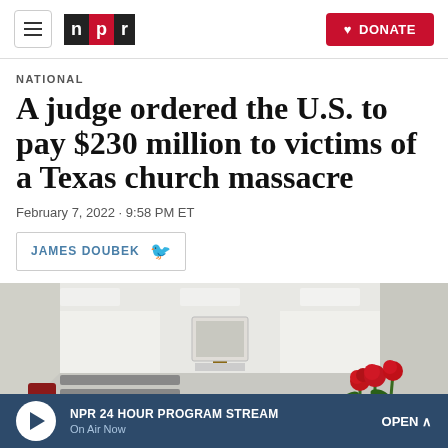NPR — DONATE
NATIONAL
A judge ordered the U.S. to pay $230 million to victims of a Texas church massacre
February 7, 2022 · 9:58 PM ET
JAMES DOUBEK
[Figure (photo): Interior of a church with white walls, a wooden cross at the altar, and red roses visible on the right side.]
NPR 24 HOUR PROGRAM STREAM On Air Now OPEN